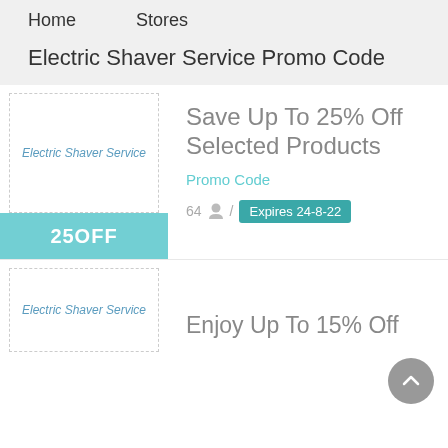Home    Stores
Electric Shaver Service Promo Code
[Figure (logo): Electric Shaver Service brand logo placeholder with italic text 'Electric Shaver Service' in blue]
Save Up To 25% Off Selected Products
Promo Code
25OFF
64 / Expires 24-8-22
[Figure (logo): Electric Shaver Service brand logo placeholder with italic text 'Electric Shaver Service' in blue]
Enjoy Up To 15% Off